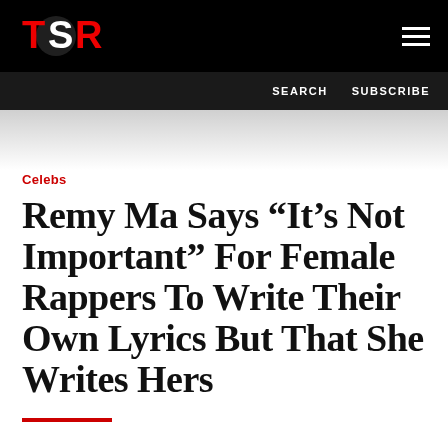TSR
SEARCH  SUBSCRIBE
Celebs
Remy Ma Says “It’s Not Important” For Female Rappers To Write Their Own Lyrics But That She Writes Hers